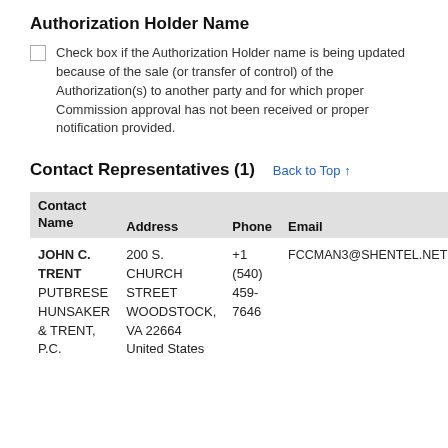Authorization Holder Name
Check box if the Authorization Holder name is being updated because of the sale (or transfer of control) of the Authorization(s) to another party and for which proper Commission approval has not been received or proper notification provided.
Contact Representatives (1)
| Contact Name | Address | Phone | Email |
| --- | --- | --- | --- |
| JOHN C. TRENT PUTBRESE HUNSAKER & TRENT, P.C. | 200 S. CHURCH STREET WOODSTOCK, VA 22664 United States | +1 (540) 459-7646 | FCCMAN3@SHENTEL.NET |